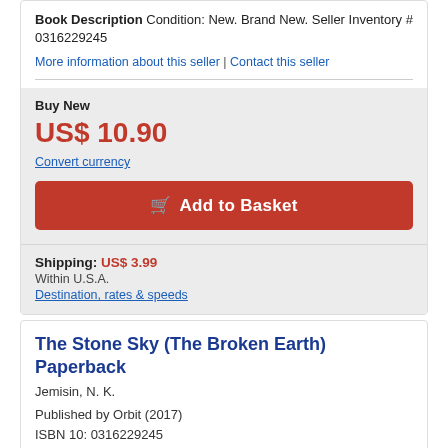Book Description Condition: New. Brand New. Seller Inventory # 0316229245
More information about this seller | Contact this seller
Buy New
US$ 10.90
Convert currency
Add to Basket
Shipping: US$ 3.99
Within U.S.A.
Destination, rates & speeds
The Stone Sky (The Broken Earth) Paperback
Jemisin, N. K.
Published by Orbit (2017)
ISBN 10: 0316229245